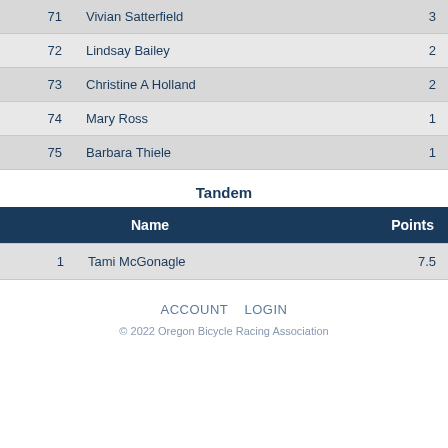|  | Name | Points |
| --- | --- | --- |
| 71 | Vivian Satterfield | 3 |
| 72 | Lindsay Bailey | 2 |
| 73 | Christine A Holland | 2 |
| 74 | Mary Ross | 1 |
| 75 | Barbara Thiele | 1 |
Tandem
|  | Name | Points |
| --- | --- | --- |
| 1 | Tami McGonagle | 7.5 |
ACCOUNT  LOGIN
© 2022 Oregon Bicycle Racing Association